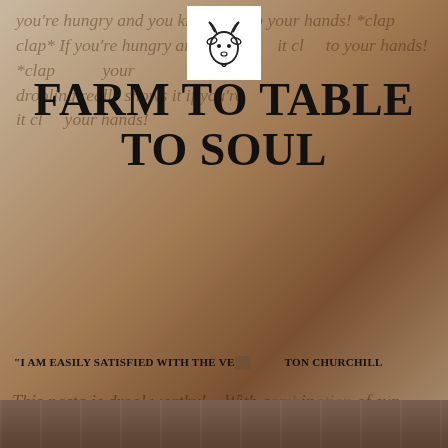[Figure (photo): Hero background photo of rustic wooden surface with a person partially visible; overlaid with italic watermark text about being hungry and clapping hands]
[Figure (logo): Small goat head icon logo in a white square box at top center]
FARM TO TABLE TO SOUL
*I AM EASILY SATISFIED WITH THE VE... ...TON CHURCHILL
great with chicken, and fresh basil as garnish is a must.  You can even substitute the zucchini with a different veggie, just make sure the quantity and cook time remain the same.
[Figure (photo): Bottom strip of a food photo, showing a dish partially visible at the bottom of the page]